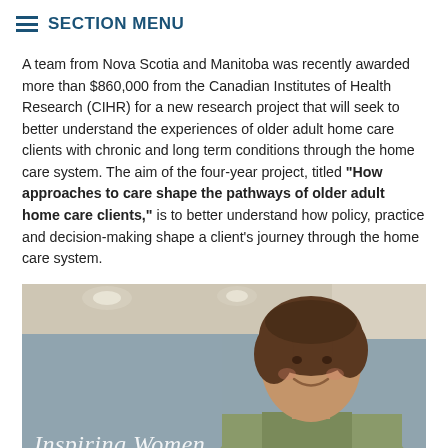SECTION MENU
A team from Nova Scotia and Manitoba was recently awarded more than $860,000 from the Canadian Institutes of Health Research (CIHR) for a new research project that will seek to better understand the experiences of older adult home care clients with chronic and long term conditions through the home care system. The aim of the four-year project, titled “How approaches to care shape the pathways of older adult home care clients,” is to better understand how policy, practice and decision-making shape a client’s journey through the home care system.
[Figure (photo): A smiling middle-aged woman with short brown hair, wearing a light jacket, standing in front of a grey wall. Text overlay reads 'Inspiring Women' in italic script.]